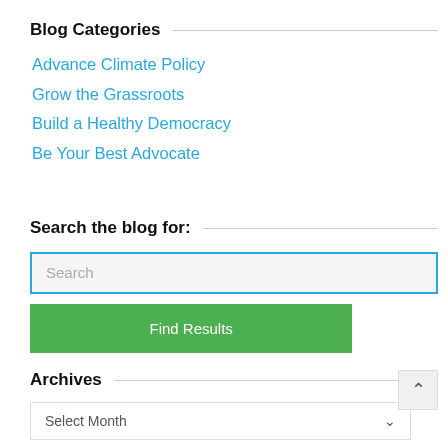Blog Categories
Advance Climate Policy
Grow the Grassroots
Build a Healthy Democracy
Be Your Best Advocate
Search the blog for:
Search
Find Results
Archives
Select Month